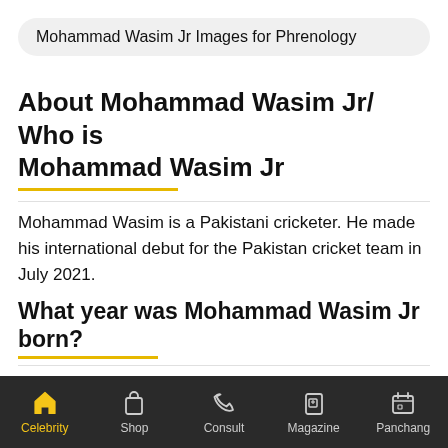Mohammad Wasim Jr Images for Phrenology
About Mohammad Wasim Jr/ Who is Mohammad Wasim Jr
Mohammad Wasim is a Pakistani cricketer. He made his international debut for the Pakistan cricket team in July 2021.
What year was Mohammad Wasim Jr born?
Year 2001
What is Mohammad Wasim Jr's birth date?
Celebrity  Shop  Consult  Magazine  Panchang